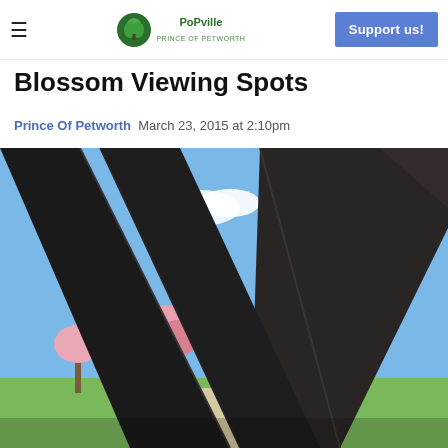PoPville – Prince of Petworth | Support us!
Blossom Viewing Spots
Prince Of Petworth  March 23, 2015 at 2:10pm
[Figure (photo): Low-angle view of a dark metal sculpture with geometric angular beams, framing cherry blossom trees in pink bloom against a blue sky with white clouds. Green lawn and walkway visible in the background.]